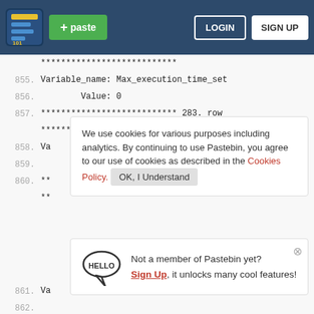Pastebin navigation bar with logo, paste button, login and sign up buttons
855. Variable_name: Max_execution_time_set
856.         Value: 0
857. *************************** 283. row
     ***************************
858. Va
859.
860. **
     **
861. Va
862.
863. **
     ***************************
864. Variable_name: Max_used_connections_time
865.         Value: 2020-02-23 19:16:01
866. *************************** 286. row
     ***************************
We use cookies for various purposes including analytics. By continuing to use Pastebin, you agree to our use of cookies as described in the Cookies Policy. OK, I Understand
Not a member of Pastebin yet? Sign Up, it unlocks many cool features!